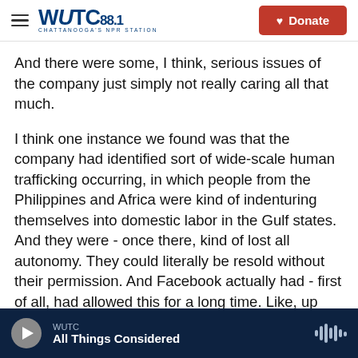WUTC 88.1 CHATTANOOGA'S NPR STATION | Donate
And there were some, I think, serious issues of the company just simply not really caring all that much.
I think one instance we found was that the company had identified sort of wide-scale human trafficking occurring, in which people from the Philippines and Africa were kind of indenturing themselves into domestic labor in the Gulf states. And they were - once there, kind of lost all autonomy. They could literally be resold without their permission. And Facebook actually had - first of all, had allowed this for a long time. Like, up until 2019, it was actually OK for people to be sold on
WUTC | All Things Considered